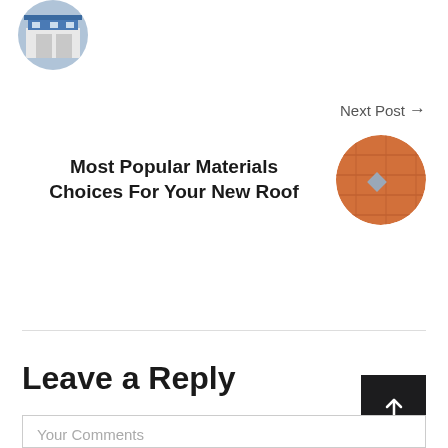[Figure (photo): Circular avatar thumbnail showing a building with a blue roof/awning, positioned top-left]
Next Post →
Most Popular Materials Choices For Your New Roof
[Figure (photo): Circular thumbnail showing an orange/terracotta roof tile with a small diamond-shaped element]
Leave a Reply
Your Comments